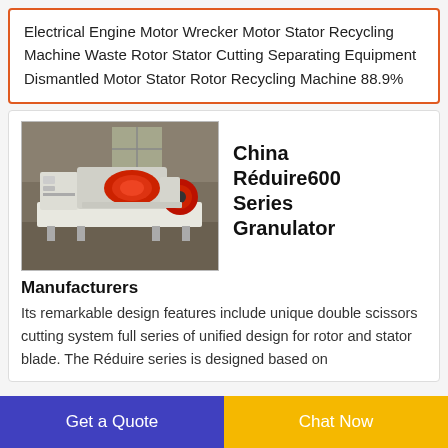Electrical Engine Motor Wrecker Motor Stator Recycling Machine Waste Rotor Stator Cutting Separating Equipment Dismantled Motor Stator Rotor Recycling Machine 88.9%
[Figure (photo): Industrial granulator machine with red and white components in a factory setting]
China Réduire600 Series Granulator
Manufacturers
Its remarkable design features include unique double scissors cutting system full series of unified design for rotor and stator blade. The Réduire series is designed based on
Get a Quote
Chat Now